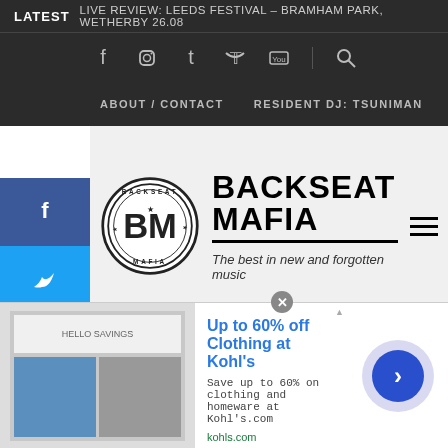LATEST  LIVE REVIEW: LEEDS FESTIVAL – BRAMHAM PARK, WETHERBY 26.08
[Figure (screenshot): Social media icon bar with Facebook, Instagram, Tumblr, Twitter, YouTube icons and search icon]
ABOUT / CONTACT   RESIDENT DJ: TSUNIMAN
[Figure (logo): Backseat Mafia circular logo with BM monogram]
BACKSEAT MAFIA
The best in new and forgotten music
EXCLUSIVE: THE BROTHERS LANDAU RELEASE AT HOME ION VERSION OF
TRACK: HEALYUM – FOOLS EYES
JIM F
[Figure (screenshot): Advertisement: Up to 60% off Clothing at Kohl's. Save up to 60% on clothing and homeware at Kohl's.com. kohls.com]